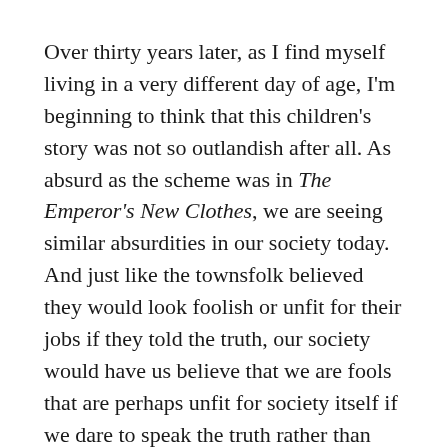Over thirty years later, as I find myself living in a very different day of age, I'm beginning to think that this children's story was not so outlandish after all. As absurd as the scheme was in The Emperor's New Clothes, we are seeing similar absurdities in our society today. And just like the townsfolk believed they would look foolish or unfit for their jobs if they told the truth, our society would have us believe that we are fools that are perhaps unfit for society itself if we dare to speak the truth rather than going along with worldly schemes.
The truth is, this world is in worse condition than the emperor ever was. Caught up in